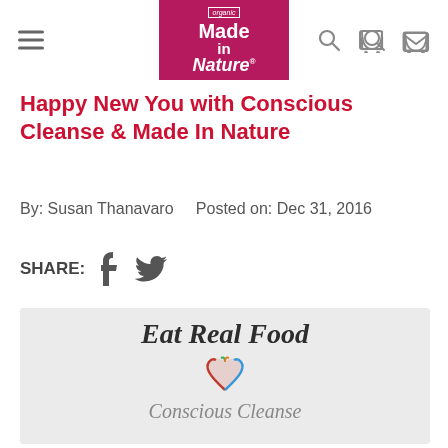Made in Nature — organic — navigation header
Happy New You with Conscious Cleanse & Made In Nature
By: Susan Thanavaro    Posted on: Dec 31, 2016
SHARE:
[Figure (illustration): Promotional image showing 'Eat Real Food' text with Conscious Cleanse logo (heart-shaped apple icon with colorful design) and partially visible cursive text below]